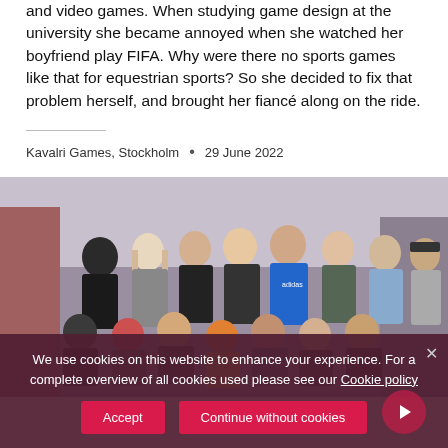and video games. When studying game design at the university she became annoyed when she watched her boyfriend play FIFA. Why were there no sports games like that for equestrian sports? So she decided to fix that problem herself, and brought her fiancé along on the ride.
Kavalri Games, Stockholm  •  29 June 2022
[Figure (photo): Group photo of approximately 15 people standing and crouching in two rows in front of a building, outdoors. Some people are smiling and laughing.]
We use cookies on this website to enhance your experience. For a complete overview of all cookies used please see our Cookie policy